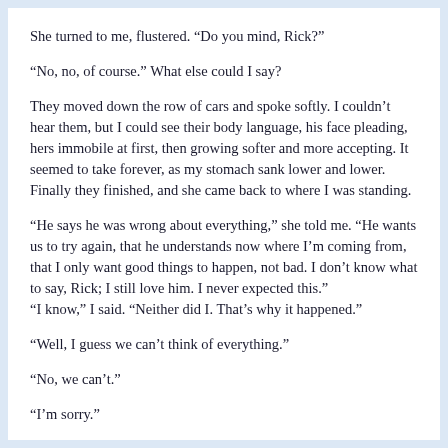She turned to me, flustered. “Do you mind, Rick?”
“No, no, of course.” What else could I say?
They moved down the row of cars and spoke softly. I couldn’t hear them, but I could see their body language, his face pleading, hers immobile at first, then growing softer and more accepting. It seemed to take forever, as my stomach sank lower and lower. Finally they finished, and she came back to where I was standing.
“He says he was wrong about everything,” she told me. “He wants us to try again, that he understands now where I’m coming from, that I only want good things to happen, not bad. I don’t know what to say, Rick; I still love him. I never expected this.”
“I know,” I said. “Neither did I. That’s why it happened.”
“Well, I guess we can’t think of everything.”
“No, we can’t.”
“I’m sorry.”